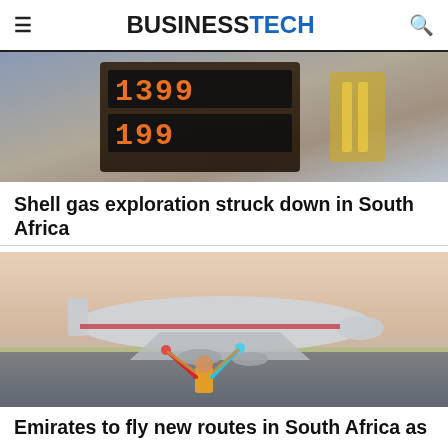BUSINESSTECH
[Figure (photo): Close-up of a fuel price display board showing orange digital numbers, with yellow mechanical parts visible to the right, against a blue-grey background.]
Shell gas exploration struck down in South Africa
[Figure (photo): An Emirates Airbus A380 aircraft parked on a tarmac at dusk or dawn, with a ground crew member holding illuminated wands (one red, one blue/cyan) in the foreground. Soft warm and cool tones in the sky.]
Emirates to fly new routes in South Africa as